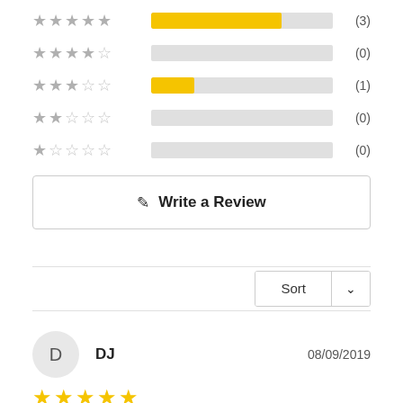[Figure (bar-chart): Star rating histogram]
Write a Review
Sort
DJ
08/09/2019
Favorite scent for spring & summer!
I got Triton a couple years ago and it has been my go to scent for spring & summer ever since. It is incredibly powerful yet light and crisp at the same time. I think "incomprehensible ice world" as the description starts is pretty accurate which is what I'm going to